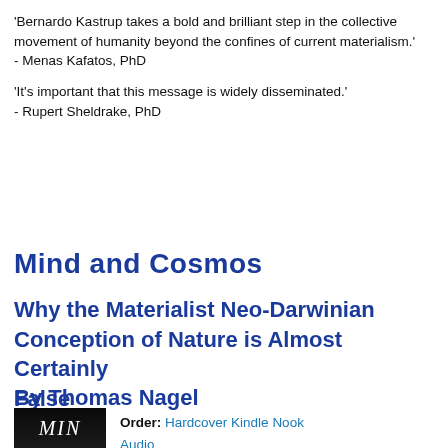'Bernardo Kastrup takes a bold and brilliant step in the collective movement of humanity beyond the confines of current materialism.' - Menas Kafatos, PhD
'It's important that this message is widely disseminated.' - Rupert Sheldrake, PhD
Mind and Cosmos
Why the Materialist Neo-Darwinian Conception of Nature is Almost Certainly False
By Thomas Nagel
[Figure (photo): Book cover of Mind and Cosmos showing large letters on dark background]
Order: Hardcover Kindle Nook Audio